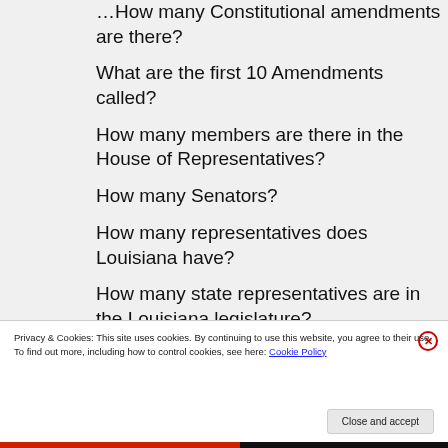How many Constitutional amendments are there?
What are the first 10 Amendments called?
How many members are there in the House of Representatives?
How many Senators?
How many representatives does Louisiana have?
How many state representatives are in the Louisiana legislature?
How many senators?
Privacy & Cookies: This site uses cookies. By continuing to use this website, you agree to their use.
To find out more, including how to control cookies, see here: Cookie Policy